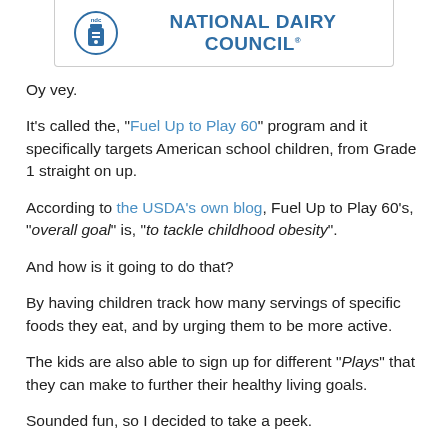[Figure (logo): National Dairy Council logo with NDC circular emblem and text 'NATIONAL DAIRY COUNCIL']
Oy vey.
It's called the, "Fuel Up to Play 60" program and it specifically targets American school children, from Grade 1 straight on up.
According to the USDA's own blog, Fuel Up to Play 60's, "overall goal" is, "to tackle childhood obesity".
And how is it going to do that?
By having children track how many servings of specific foods they eat, and by urging them to be more active.
The kids are also able to sign up for different "Plays" that they can make to further their healthy living goals.
Sounded fun, so I decided to take a peek.